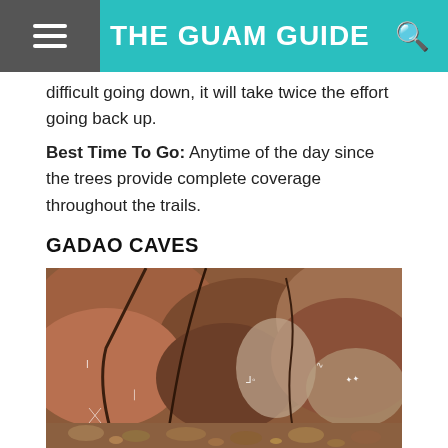THE GUAM GUIDE
difficult going down, it will take twice the effort going back up.
Best Time To Go: Anytime of the day since the trees provide complete coverage throughout the trails.
GADAO CAVES
[Figure (photo): Interior of Gadao Caves showing reddish-brown limestone cave walls with ancient petroglyphs and white calcite markings. Cave formations and small rocks visible at the bottom.]